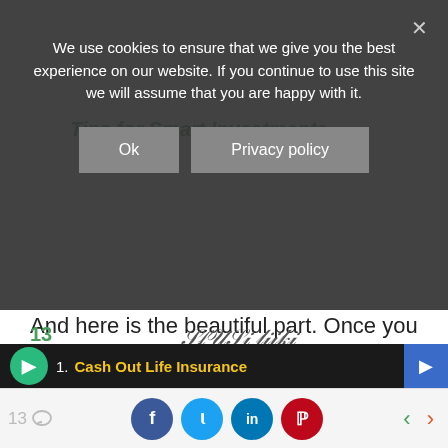[Figure (screenshot): Cookie consent overlay banner with dark semi-transparent background. Text reads: 'We use cookies to ensure that we give you the best experience on our website. If you continue to use this site we will assume that you are happy with it.' Two buttons: 'Ok' and 'Privacy policy'. Close X button top right.]
Tips for Smart Investments
And here is the beautiful part. Once you understand the basic components — income and expenses — you can begin to take concrete actions to improve your finances. And you can break down the problem even further by looking at reducing individual expenses and improving your income.
13
[Figure (screenshot): Bottom ad banner: dark background with green circle icon, number '1.' and bold yellow text 'Cash Out Life Insurance'. Blue arrow button on right.]
[Figure (screenshot): Social sharing bar with comment count '13', Facebook, Twitter, LinkedIn, Pinterest buttons, and prev/next navigation arrows in green and orange.]